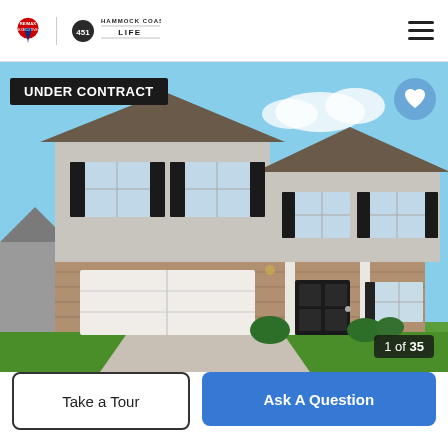RE/MAX Executive | Hammock Coast Life
[Figure (photo): Two-story suburban house with gray vinyl siding, brick lower facade, white two-car garage door, dark front door, black shutters on windows, blue sky background. Badge: UNDER CONTRACT. Heart favorite button. Image counter: 1 of 35.]
Take a Tour
Ask A Question